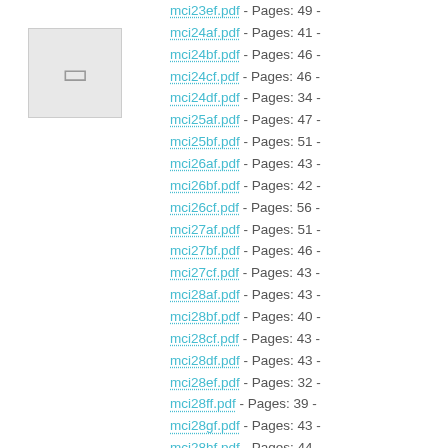[Figure (other): Thumbnail icon placeholder, grey rectangle with a document/page icon]
mci23ef.pdf - Pages: 49 -
mci24af.pdf - Pages: 41 -
mci24bf.pdf - Pages: 46 -
mci24cf.pdf - Pages: 46 -
mci24df.pdf - Pages: 34 -
mci25af.pdf - Pages: 47 -
mci25bf.pdf - Pages: 51 -
mci26af.pdf - Pages: 43 -
mci26bf.pdf - Pages: 42 -
mci26cf.pdf - Pages: 56 -
mci27af.pdf - Pages: 51 -
mci27bf.pdf - Pages: 46 -
mci27cf.pdf - Pages: 43 -
mci28af.pdf - Pages: 43 -
mci28bf.pdf - Pages: 40 -
mci28cf.pdf - Pages: 43 -
mci28df.pdf - Pages: 43 -
mci28ef.pdf - Pages: 32 -
mci28ff.pdf - Pages: 39 -
mci28gf.pdf - Pages: 43 -
mci28hf.pdf - Pages: 44 -